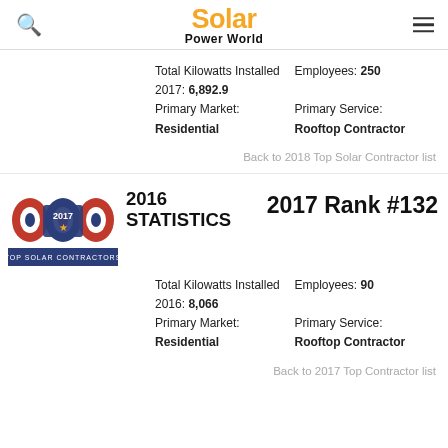Solar Power World
Total Kilowatts Installed 2017: 6,892.9
Employees: 250
Primary Market: Residential
Primary Service: Rooftop Contractor
Back to 2018 Top Solar Contractor list
[Figure (logo): Top Solar Contractors 2017 badge with stylized '500' logo and star]
2016 STATISTICS
2017 Rank #132
Total Kilowatts Installed 2016: 8,066
Employees: 90
Primary Market: Residential
Primary Service: Rooftop Contractor
Back to 2017 Top Contractor list